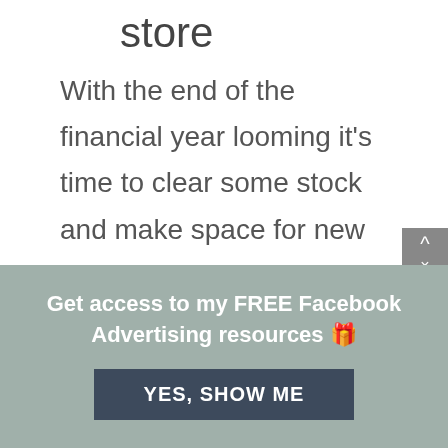store
With the end of the financial year looming it's time to clear some stock and make space for new products right? If you want some ideas on what to do to sell some of that current stock, listen back to episode 83 where I give you
Get access to my FREE Facebook Advertising resources 🎁
YES, SHOW ME